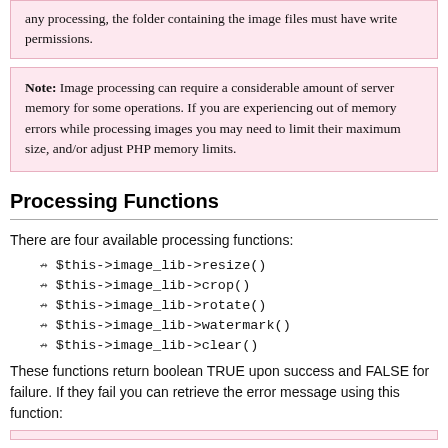any processing, the folder containing the image files must have write permissions.
Note: Image processing can require a considerable amount of server memory for some operations. If you are experiencing out of memory errors while processing images you may need to limit their maximum size, and/or adjust PHP memory limits.
Processing Functions
There are four available processing functions:
$this->image_lib->resize()
$this->image_lib->crop()
$this->image_lib->rotate()
$this->image_lib->watermark()
$this->image_lib->clear()
These functions return boolean TRUE upon success and FALSE for failure. If they fail you can retrieve the error message using this function: